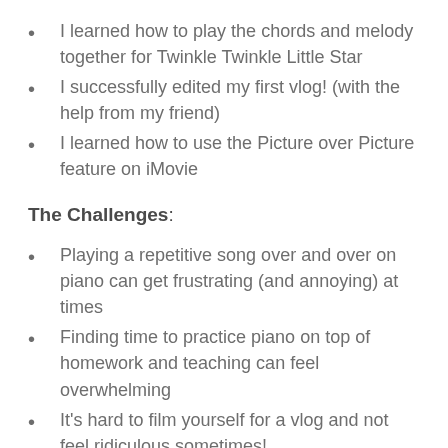I learned how to play the chords and melody together for Twinkle Twinkle Little Star
I successfully edited my first vlog! (with the help from my friend)
I learned how to use the Picture over Picture feature on iMovie
The Challenges:
Playing a repetitive song over and over on piano can get frustrating (and annoying) at times
Finding time to practice piano on top of homework and teaching can feel overwhelming
It's hard to film yourself for a vlog and not feel ridiculous sometimes!
It's also hard to be authentic and real on camera. Sometimes I would film a clip over and over because I